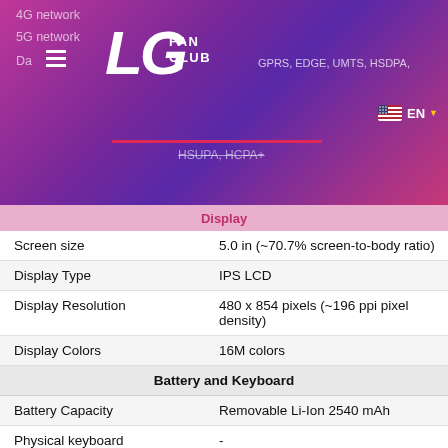LG FAN CLUB — 4G network, 5G network, Da... GPRS, EDGE, UMTS, HSDPA, HSUPA, HCPA+ | EN
Display
| Feature | Value |
| --- | --- |
| Screen size | 5.0 in (~70.7% screen-to-body ratio) |
| Display Type | IPS LCD |
| Display Resolution | 480 x 854 pixels (~196 ppi pixel density) |
| Display Colors | 16M colors |
| Battery and Keyboard |  |
| Battery Capacity | Removable Li-Ion 2540 mAh |
| Physical keyboard | - |
| Interfaces |  |
| Audio output | 3.5mm jack |
| Bluetooth | version 4.0, A2DP |
| DLNA | No |
| GPS | Yes, with A-GPS, GLONASS |
| Infrared port | No |